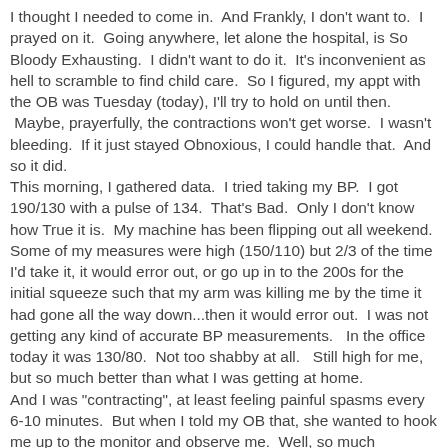I thought I needed to come in.  And Frankly, I don't want to.  I prayed on it.  Going anywhere, let alone the hospital, is So Bloody Exhausting.  I didn't want to do it.  It's inconvenient as hell to scramble to find child care.  So I figured, my appt with the OB was Tuesday (today), I'll try to hold on until then.  Maybe, prayerfully, the contractions won't get worse.  I wasn't bleeding.  If it just stayed Obnoxious, I could handle that.  And so it did.
This morning, I gathered data.  I tried taking my BP.  I got 190/130 with a pulse of 134.  That's Bad.  Only I don't know how True it is.  My machine has been flipping out all weekend.  Some of my measures were high (150/110) but 2/3 of the time I'd take it, it would error out, or go up in to the 200s for the initial squeeze such that my arm was killing me by the time it had gone all the way down...then it would error out.  I was not getting any kind of accurate BP measurements.   In the office today it was 130/80.  Not too shabby at all.   Still high for me, but so much better than what I was getting at home.
And I was "contracting", at least feeling painful spasms every 6-10 minutes.  But when I told my OB that, she wanted to hook me up to the monitor and observe me.  Well, so much